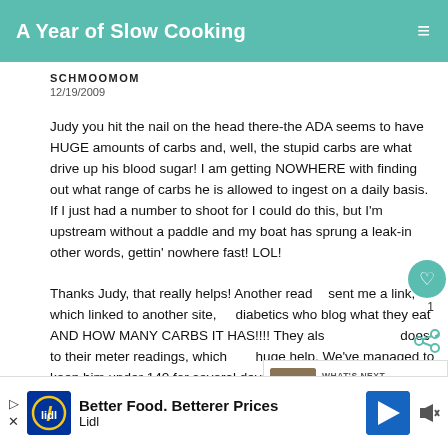A Year of Slow Cooking
SCHMOOMOM
12/19/2009
Judy you hit the nail on the head there-the ADA seems to have HUGE amounts of carbs and, well, the stupid carbs are what drive up his blood sugar! I am getting NOWHERE with finding out what range of carbs he is allowed to ingest on a daily basis. If I just had a number to shoot for I could do this, but I'm upstream without a paddle and my boat has sprung a leak-in other words, gettin' nowhere fast! LOL!

Thanks Judy, that really helps! Another reader sent me a link, which linked to another site, of diabetics who blog what they eat AND HOW MANY CARBS IT HAS!!!! They also log what it does to their meter readings, which is a huge help. We've managed to keep him under 140 for several days now, with a gradual
[Figure (screenshot): What's Next panel showing Slow Cooker Salmon thumbnail]
[Figure (infographic): Advertisement bar: Lidl - Better Food. Betterer Prices]